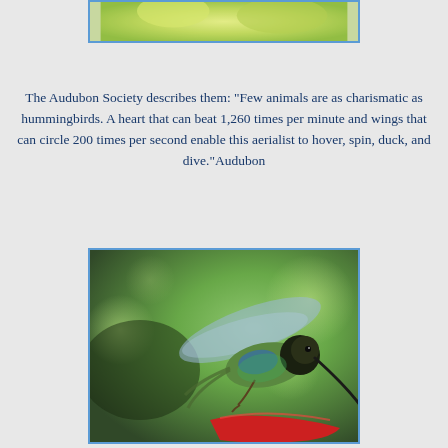[Figure (photo): Top portion of a hummingbird photo showing blurred green foliage background, cropped at top of page]
The Audubon Society describes them: "Few animals are as charismatic as hummingbirds. A heart that can beat 1,260 times per minute and wings that can circle 200 times per second enable this aerialist to hover, spin, duck, and dive."Audubon
[Figure (photo): Close-up photograph of a hummingbird hovering near a red feeder, with green blurred background. The bird shows iridescent green and purple plumage with wings spread.]